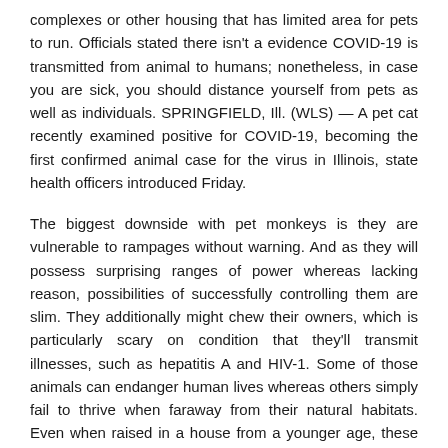complexes or other housing that has limited area for pets to run. Officials stated there isn't a evidence COVID-19 is transmitted from animal to humans; nonetheless, in case you are sick, you should distance yourself from pets as well as individuals. SPRINGFIELD, Ill. (WLS) — A pet cat recently examined positive for COVID-19, becoming the first confirmed animal case for the virus in Illinois, state health officers introduced Friday.
The biggest downside with pet monkeys is they are vulnerable to rampages without warning. And as they will possess surprising ranges of power whereas lacking reason, possibilities of successfully controlling them are slim. They additionally might chew their owners, which is particularly scary on condition that they'll transmit illnesses, such as hepatitis A and HIV-1. Some of those animals can endanger human lives whereas others simply fail to thrive when faraway from their natural habitats. Even when raised in a house from a younger age, these animals have a tendency to maintain their wild instincts, making them unpredictable and tough to manage.